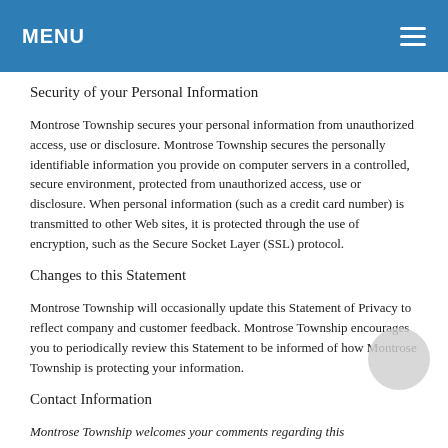MENU
Security of your Personal Information
Montrose Township secures your personal information from unauthorized access, use or disclosure. Montrose Township secures the personally identifiable information you provide on computer servers in a controlled, secure environment, protected from unauthorized access, use or disclosure. When personal information (such as a credit card number) is transmitted to other Web sites, it is protected through the use of encryption, such as the Secure Socket Layer (SSL) protocol.
Changes to this Statement
Montrose Township will occasionally update this Statement of Privacy to reflect company and customer feedback. Montrose Township encourages you to periodically review this Statement to be informed of how Montrose Township is protecting your information.
Contact Information
Montrose Township welcomes your comments regarding this